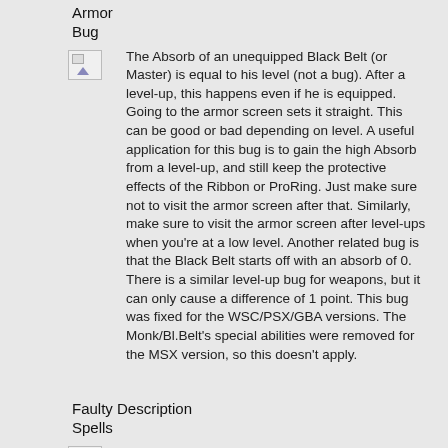Armor Bug
The Absorb of an unequipped Black Belt (or Master) is equal to his level (not a bug). After a level-up, this happens even if he is equipped. Going to the armor screen sets it straight. This can be good or bad depending on level. A useful application for this bug is to gain the high Absorb from a level-up, and still keep the protective effects of the Ribbon or ProRing. Just make sure not to visit the armor screen after that. Similarly, make sure to visit the armor screen after level-ups when you're at a low level. Another related bug is that the Black Belt starts off with an absorb of 0. There is a similar level-up bug for weapons, but it can only cause a difference of 1 point. This bug was fixed for the WSC/PSX/GBA versions. The Monk/Bl.Belt's special abilities were removed for the MSX version, so this doesn't apply.
Faulty Description Spells
Some spells don't work as they should. TMPR, SABR & XFER don't seem to work at all. (Although oddly, if you hack the game to make an enemy cast them, they do work.) LOCK always misses, and LOK2 does the opposite of what it's supposed to. It makes the enemies HARDER to hit. HEL2, although...